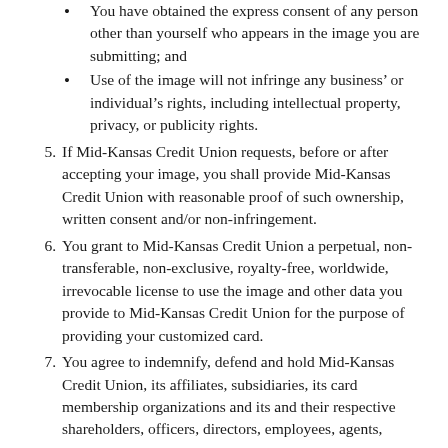You have obtained the express consent of any person other than yourself who appears in the image you are submitting; and
Use of the image will not infringe any business' or individual's rights, including intellectual property, privacy, or publicity rights.
5. If Mid-Kansas Credit Union requests, before or after accepting your image, you shall provide Mid-Kansas Credit Union with reasonable proof of such ownership, written consent and/or non-infringement.
6. You grant to Mid-Kansas Credit Union a perpetual, non-transferable, non-exclusive, royalty-free, worldwide, irrevocable license to use the image and other data you provide to Mid-Kansas Credit Union for the purpose of providing your customized card.
7. You agree to indemnify, defend and hold Mid-Kansas Credit Union, its affiliates, subsidiaries, its card membership organizations and its and their respective shareholders, officers, directors, employees, agents,